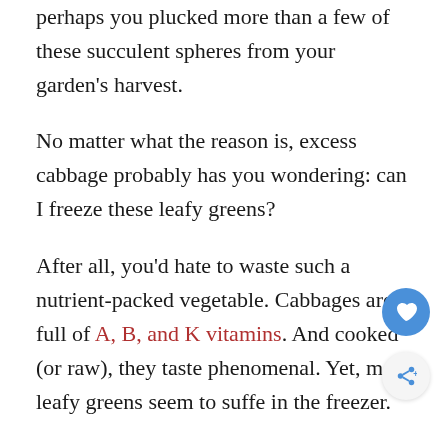perhaps you plucked more than a few of these succulent spheres from your garden's harvest.
No matter what the reason is, excess cabbage probably has you wondering: can I freeze these leafy greens?
After all, you'd hate to waste such a nutrient-packed vegetable. Cabbages are full of A, B, and K vitamins. And cooked (or raw), they taste phenomenal. Yet, most leafy greens seem to suffe in the freezer.
So, can you freeze cooked cabbage? Could this